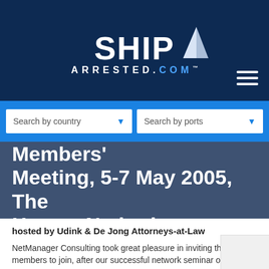[Figure (logo): ShipArrested.com logo with white bold text SHIP on dark navy background and sailboat graphic, ARRESTED.COM in smaller spaced letters below]
[Figure (other): Hamburger menu icon (three white horizontal lines) in top right of dark navy header]
[Figure (other): Blue navigation bar with two dropdown search boxes: 'Search by country' and 'Search by ports']
2nd Shiparrested.com Members' Meeting, 5-7 May 2005, The Hague, Netherlands
hosted by Udink & De Jong Attorneys-at-Law
NetManager Consulting took great pleasure in inviting the members to join, after our successful network seminar of last year, at the 2nd Ship Arrest Members Meeting.